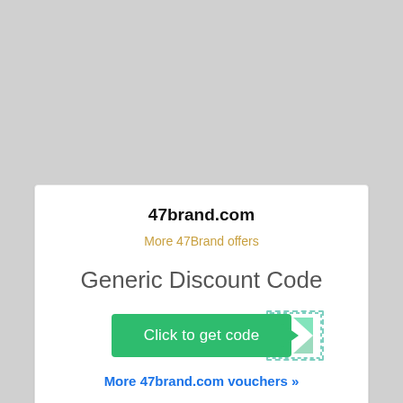47brand.com
More 47Brand offers
Generic Discount Code
[Figure (screenshot): Green button with text 'Click to get code' and a folded corner tab graphic with dashed border on the right side]
More 47brand.com vouchers »